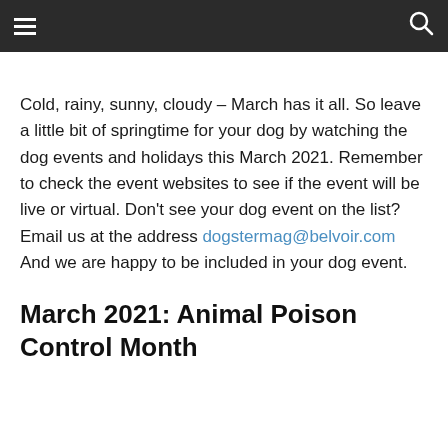☰ [navigation] 🔍 [search]
Cold, rainy, sunny, cloudy – March has it all. So leave a little bit of springtime for your dog by watching the dog events and holidays this March 2021. Remember to check the event websites to see if the event will be live or virtual. Don't see your dog event on the list? Email us at the address dogstermag@belvoir.com And we are happy to be included in your dog event.
March 2021: Animal Poison Control Month